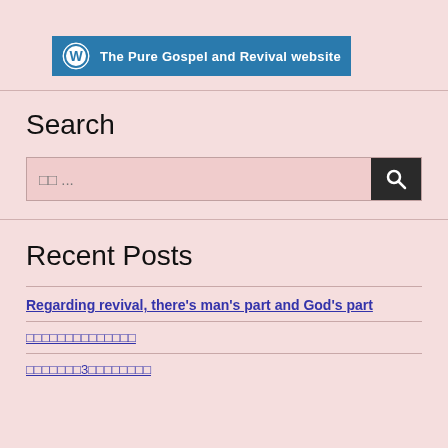The Pure Gospel and Revival website
Search
検索 ...
Recent Posts
Regarding revival, there's man's part and God's part
□□□□□□□□□□□□□□
□□□□□□□3□□□□□□□□